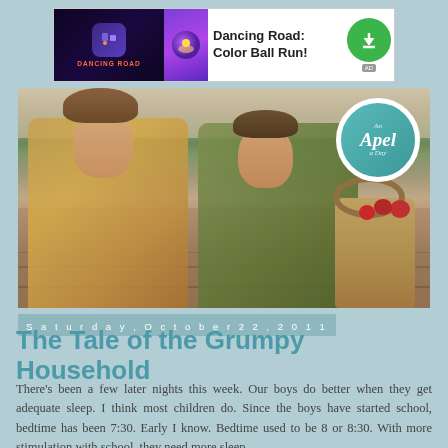[Figure (screenshot): Advertisement banner for 'Dancing Road: Color Ball Run!' app with game imagery, app icon, title text, and green download button]
[Figure (photo): Two boys lying on a wooden deck surface. One in yellow/gold plaid shirt, one in green/brown plaid shirt. A wooden basket with red apples sits to the right. An 'An Apel a Day' circular logo overlays the top right corner.]
Saturday, October 22, 2011
The Tale of the Grumpy Household
There's been a few later nights this week. Our boys do better when they get adequate sleep. I think most children do. Since the boys have started school, bedtime has been 7:30. Early I know. Bedtime used to be 8 or 8:30. With more stimulation with school, they need more sleep.